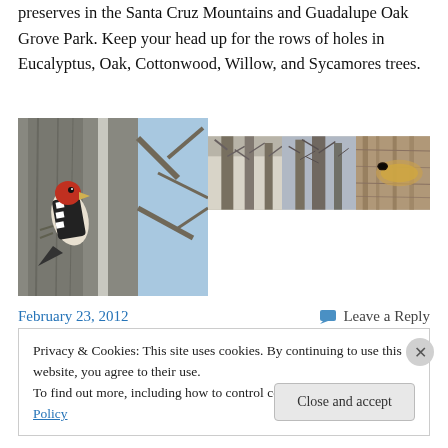preserves in the Santa Cruz Mountains and Guadalupe Oak Grove Park. Keep your head up for the rows of holes in Eucalyptus, Oak, Cottonwood, Willow, and Sycamores trees.
[Figure (photo): Collage of four nature photos: a red-breasted woodpecker on a tree trunk (large, left), bare tree branches (upper middle), more bare trees with winter sky (upper right), and close-up of tree bark with a hole (far right).]
February 23, 2012
Leave a Reply
Privacy & Cookies: This site uses cookies. By continuing to use this website, you agree to their use.
To find out more, including how to control cookies, see here: Cookie Policy